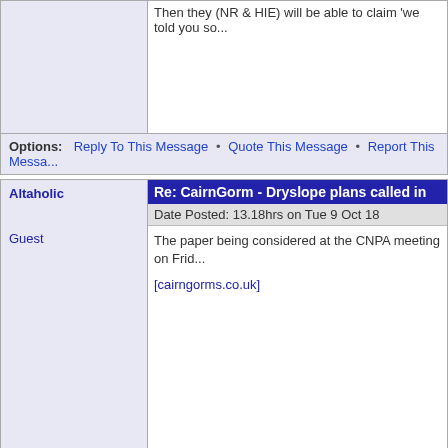Then they (NR & HIE) will be able to claim 'we told you so...
Options: Reply To This Message • Quote This Message • Report This Message
Re: CairnGorm - Dryslope plans called in
Date Posted: 13.18hrs on Tue 9 Oct 18
Altaholic
Guest
The paper being considered at the CNPA meeting on Friday is at
[cairngorms.co.uk]
Options: Reply To This Message • Quote This Message • Report This Message
Re: CairnGorm - Dryslope plans called in
Date Posted: 17.45hrs on Tue 9 Oct 18
jabuzzard
Guest
Of course just because you have got planning permission doesn't mean ... catastrophic problems at Cairngorm at the moment with the...

Personally if I where NR I would be having my lawyers go... penalty as a matter of top priority.
Options: Reply To This Message • Quote This Message • Report This Message
Current Page: 4 of 5